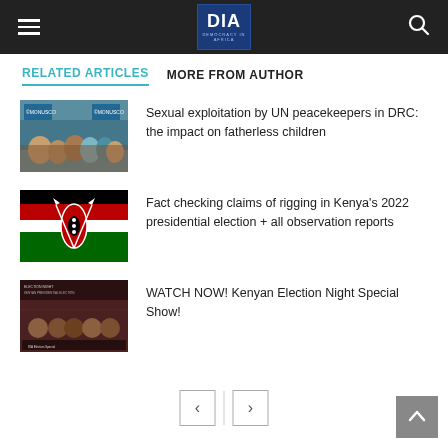DIA DEMOCRACY IN AFRICA — navigation header
RELATED ARTICLES
MORE FROM AUTHOR
[Figure (photo): Photo of people in a crowd scene, related to UN peacekeepers in DRC]
Sexual exploitation by UN peacekeepers in DRC: the impact on fatherless children
[Figure (illustration): Kenya national flag with black, red and green horizontal stripes and Maasai shield]
Fact checking claims of rigging in Kenya's 2022 presidential election + all observation reports
[Figure (photo): Promotional image for Kenyan Election Night Special Show with panelists]
WATCH NOW! Kenyan Election Night Special Show!